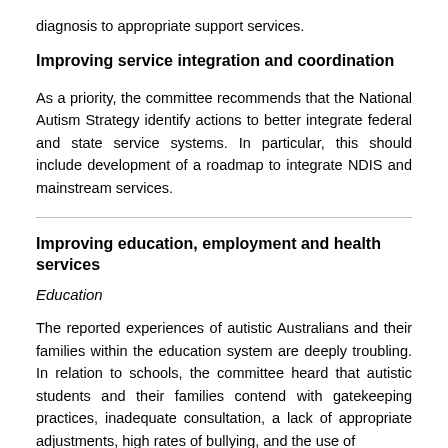diagnosis to appropriate support services.
Improving service integration and coordination
As a priority, the committee recommends that the National Autism Strategy identify actions to better integrate federal and state service systems. In particular, this should include development of a roadmap to integrate NDIS and mainstream services.
Improving education, employment and health services
Education
The reported experiences of autistic Australians and their families within the education system are deeply troubling. In relation to schools, the committee heard that autistic students and their families contend with gatekeeping practices, inadequate consultation, a lack of appropriate adjustments, high rates of bullying, and the use of